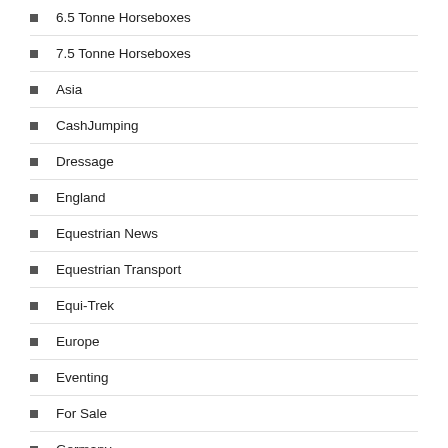6.5 Tonne Horseboxes
7.5 Tonne Horseboxes
Asia
CashJumping
Dressage
England
Equestrian News
Equestrian Transport
Equi-Trek
Europe
Eventing
For Sale
Germany
Horse Racing
Horse Trailer